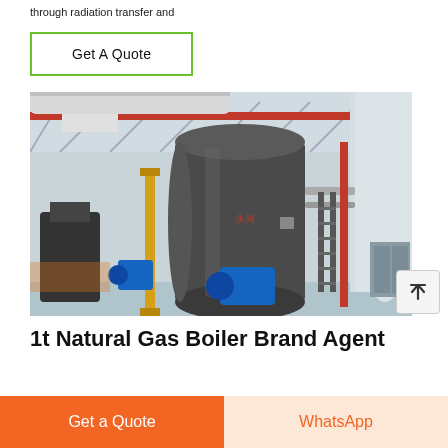through radiation transfer and
Get A Quote
[Figure (photo): Industrial boiler room with large cylindrical gas boilers, yellow pipes, red structural beams, blue motors, and a metal staircase inside a factory building.]
1t Natural Gas Boiler Brand Agent
Get a Quote
WhatsApp